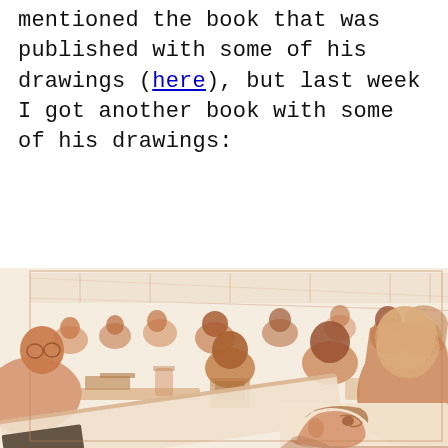mentioned the book that was published with some of his drawings (here), but last week I got another book with some of his drawings:
[Figure (illustration): Sepia-tone illustrated drawings showing crowded indoor scenes with people sitting at tables in what appears to be a courtroom or cafeteria, and a close-up portrait of a man's face in profile. The drawings are rendered in a comic/sketch style with warm brown tones on white.]